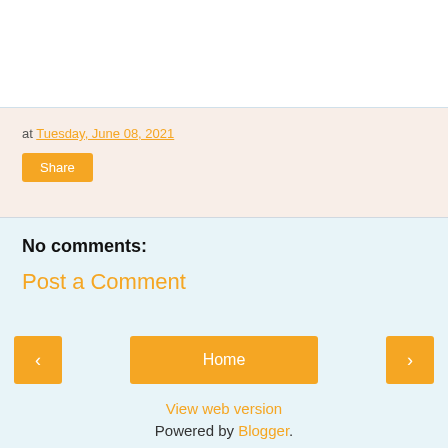at Tuesday, June 08, 2021
Share
No comments:
Post a Comment
< Home >
View web version
Powered by Blogger.